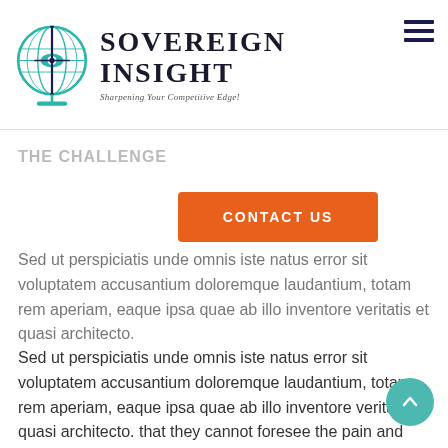[Figure (logo): Sovereign Insight logo with globe and eye icon, tagline: Sharpening Your Competitive Edge!]
THE CHALLENGE
Sed ut perspiciatis unde omnis iste natus error sit voluptatem accusantium doloremque laudantium, totam rem aperiam, eaque ipsa quae ab illo inventore veritatis et quasi architecto.
Sed ut perspiciatis unde omnis iste natus error sit voluptatem accusantium doloremque laudantium, totam rem aperiam, eaque ipsa quae ab illo inventore veritatis et quasi architecto. that they cannot foresee the pain and trouble that are